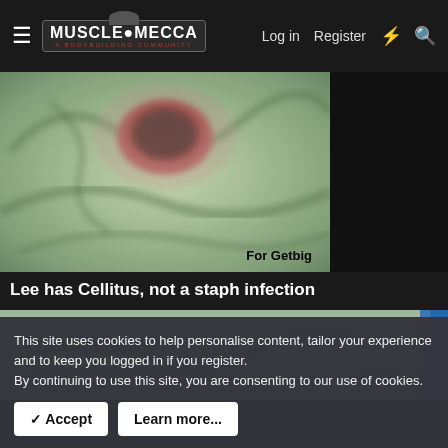≡  MUSCLE MECCA  Log in  Register
[Figure (photo): Close-up blurry photo of a skin wound/infection on tattooed skin showing a dark red oval wound surrounded by greenish tattoo. Text 'For Getbig' in bottom right corner.]
Lee has Cellitus, not a staph infection
[Figure (photo): Partial photo of tattooed skin with blue element visible on right edge.]
This site uses cookies to help personalise content, tailor your experience and to keep you logged in if you register.
By continuing to use this site, you are consenting to our use of cookies.